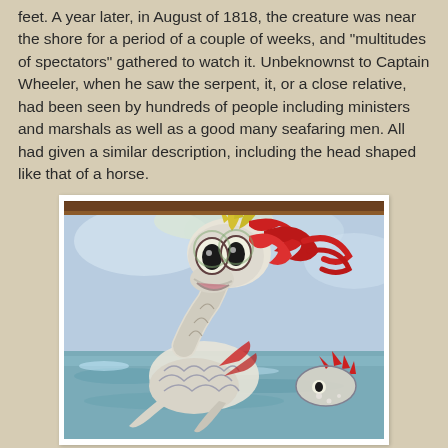feet. A year later, in August of 1818, the creature was near the shore for a period of a couple of weeks, and "multitudes of spectators" gathered to watch it. Unbeknownst to Captain Wheeler, when he saw the serpent, it, or a close relative, had been seen by hundreds of people including ministers and marshals as well as a good many seafaring men. All had given a similar description, including the head shaped like that of a horse.
[Figure (illustration): A colorful painting of a mythical sea serpent creature with a horse-like head featuring large dark eyes, red flowing mane, and a white scaly body emerging from water. A second smaller serpent head is visible in the lower right. The background shows a pale blue sky and water in an expressive, folk-art style.]